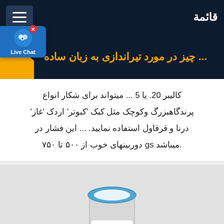قائمة
... چیز در مورد تیراندازی به زبان ساده
کالیبر 20. یا 5 ... میتواند برای شکار انواع پرندگاهبزرگ وکوچک مثل کبک 'کبوتر' اردک 'غاز' درنا و قرقاول استفاده نمایید. ... این فشار در میباشد gs دوربینهای خوب از ۵۰۰ تا ۷۵۰.
[Figure (photo): Product container labeled ME3-HF (0-10...) with blue cap and barcode, on grey background]